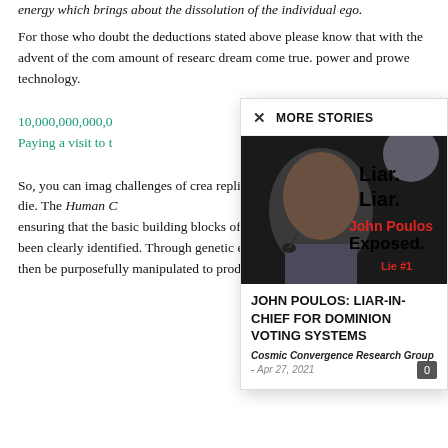energy which brings about the dissolution of the individual ego.
For those who doubt the deductions stated above please know that with the advent of the com amount of research dream come true. power and prowe technology.
10,000,000,000,0 Paying a visit to t
So, you can imag challenges of crea replicate with the organ failure so th die. The Human C ensuring that the basic building blocks of the human genetic blueprint have been clearly identified. Through genetic engineering and eugenics they can then be purposefully manipulated to produce a very specific and desired
[Figure (screenshot): Modal popup titled MORE STORIES showing a story thumbnail image of a man with text overlaid: Liar. Liar. John Poulos Exposed. Lie #1, followed by story title JOHN POULOS: LIAR-IN-CHIEF FOR DOMINION VOTING SYSTEMS by Cosmic Convergence Research Group - Apr 27, 2021]
MORE STORIES
JOHN POULOS: LIAR-IN-CHIEF FOR DOMINION VOTING SYSTEMS
Cosmic Convergence Research Group - Apr 27, 2021